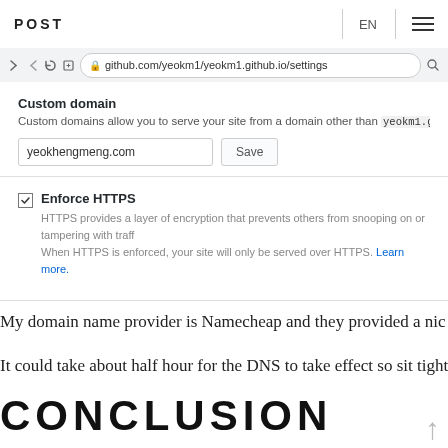POST  EN  ☰
[Figure (screenshot): Browser screenshot showing GitHub settings page at github.com/yeokm1/yeokm1.github.io/settings with Custom domain field set to yeokhengmeng.com and Save button, plus Enforce HTTPS checkbox enabled with description text.]
My domain name provider is Namecheap and they provided a nic
It could take about half hour for the DNS to take effect so sit tight
CONCLUSION